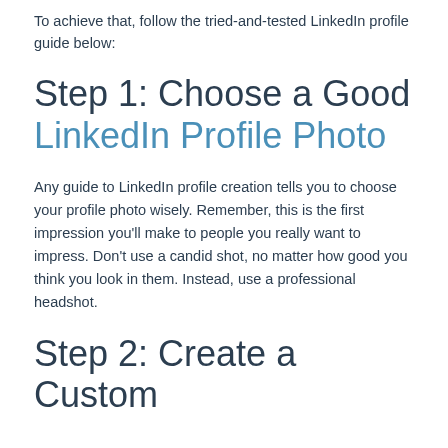To achieve that, follow the tried-and-tested LinkedIn profile guide below:
Step 1: Choose a Good LinkedIn Profile Photo
Any guide to LinkedIn profile creation tells you to choose your profile photo wisely. Remember, this is the first impression you'll make to people you really want to impress. Don't use a candid shot, no matter how good you think you look in them. Instead, use a professional headshot.
Step 2: Create a Custom